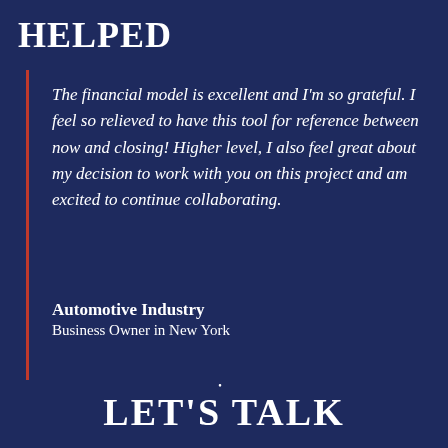HELPED
The financial model is excellent and I'm so grateful. I feel so relieved to have this tool for reference between now and closing! Higher level, I also feel great about my decision to work with you on this project and am excited to continue collaborating.
Automotive Industry
Business Owner in New York
•
LET'S TALK